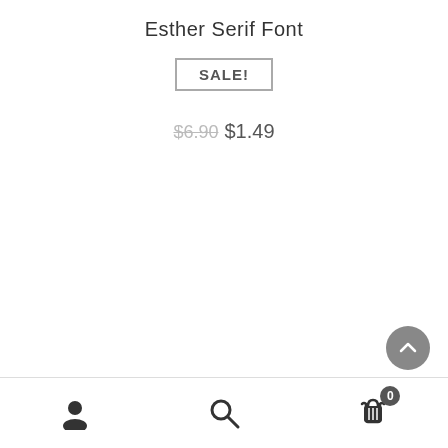Esther Serif Font
SALE!
$6.90  $1.49
[Figure (other): Scroll-to-top button: dark grey circle with white upward chevron arrow, positioned bottom-right of page content area]
Footer navigation bar with user account icon, search icon, and shopping cart icon with badge showing 0